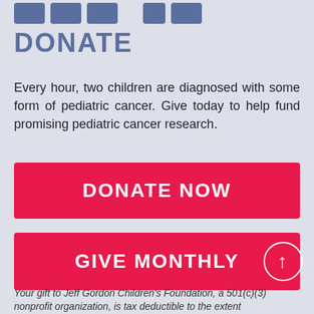[Figure (other): Top navigation icon bar with blue rounded rectangle buttons]
DONATE
Every hour, two children are diagnosed with some form of pediatric cancer. Give today to help fund promising pediatric cancer research.
[Figure (other): Red button labeled DONATE NOW]
[Figure (other): Red button labeled GIVE MONTHLY with a circular scroll-to-top arrow button on the right]
Your gift to Jeff Gordon Children's Foundation, a 501(c)(3) nonprofit organization, is tax deductible to the extent